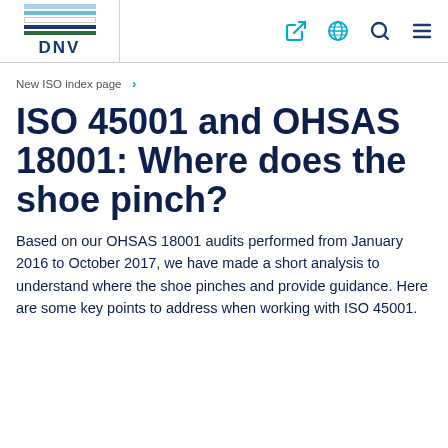[Figure (logo): DNV logo with horizontal colored stripes above the text DNV]
New ISO index page >
ISO 45001 and OHSAS 18001: Where does the shoe pinch?
Based on our OHSAS 18001 audits performed from January 2016 to October 2017, we have made a short analysis to understand where the shoe pinches and provide guidance. Here are some key points to address when working with ISO 45001.